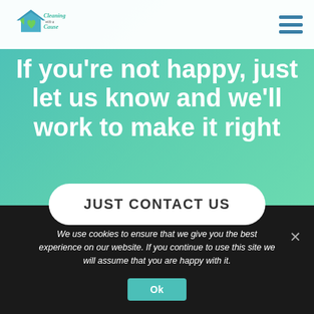[Figure (logo): Cleaning with a Cause logo — house/heart icon in teal and green with script text]
If you're not happy, just let us know and we'll work to make it right
JUST CONTACT US
We use cookies to ensure that we give you the best experience on our website. If you continue to use this site we will assume that you are happy with it.
Ok